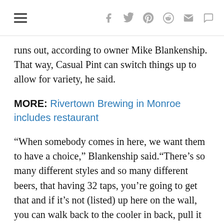Navigation and social sharing icons (hamburger menu, Facebook, Twitter, Pinterest, Reddit, Mail, Comment)
runs out, according to owner Mike Blankenship. That way, Casual Pint can switch things up to allow for variety, he said.
MORE: Rivertown Brewing in Monroe includes restaurant
“When somebody comes in here, we want them to have a choice,” Blankenship said. “There’s so many different styles and so many different beers, that having 32 taps, you’re going to get that and if it’s not (listed) up here on the wall, you can walk back to the cooler in back, pull it out and have one of those here, as well.”
The Casual Pint’s menu features starters like